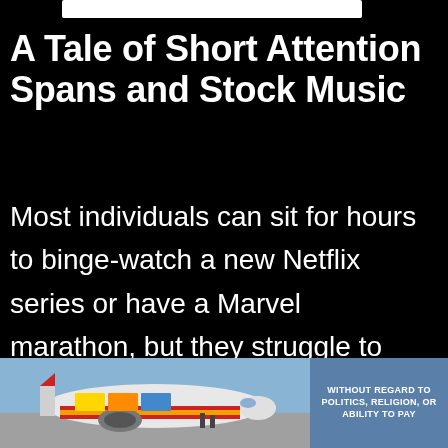A Tale of Short Attention Spans and Stock Music
Most individuals can sit for hours to binge-watch a new Netflix series or have a Marvel marathon, but they struggle to focus on a short, albeit silent corporate video. Ever wondered why?
[Figure (photo): Advertisement banner showing an airplane being loaded with cargo, with text overlay 'WITHOUT REGARD TO POLITICS, RELIGION, OR ABILITY TO PAY']